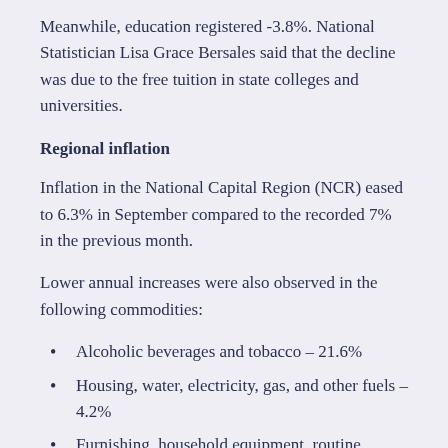Meanwhile, education registered -3.8%. National Statistician Lisa Grace Bersales said that the decline was due to the free tuition in state colleges and universities.
Regional inflation
Inflation in the National Capital Region (NCR) eased to 6.3% in September compared to the recorded 7% in the previous month.
Lower annual increases were also observed in the following commodities:
Alcoholic beverages and tobacco – 21.6%
Housing, water, electricity, gas, and other fuels – 4.2%
Furnishing, household equipment, routine